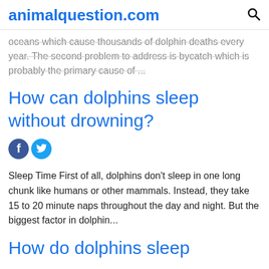animalquestion.com
oceans which cause thousands of dolphin deaths every year. The second problem to address is bycatch which is probably the primary cause of ...
How can dolphins sleep without drowning?
[Figure (illustration): Facebook and Twitter social share icons]
Sleep Time First of all, dolphins don't sleep in one long chunk like humans or other mammals. Instead, they take 15 to 20 minute naps throughout the day and night. But the biggest factor in dolphin...
How do dolphins sleep